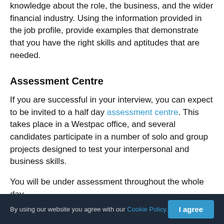knowledge about the role, the business, and the wider financial industry. Using the information provided in the job profile, provide examples that demonstrate that you have the right skills and aptitudes that are needed.
Assessment Centre
If you are successful in your interview, you can expect to be invited to a half day assessment centre. This takes place in a Westpac office, and several candidates participate in a number of solo and group projects designed to test your interpersonal and business skills.
You will be under assessment throughout the whole day,
By using our website you agree with our Cookie Policy.   I agree